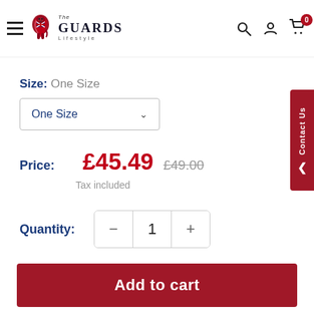[Figure (logo): The Guards Lifestyle logo with red lion and union jack, text reads 'The GUARDS Lifestyle']
Size: One Size
One Size (dropdown)
Price: £45.49  £49.00
Tax included
Quantity: 1
Add to cart